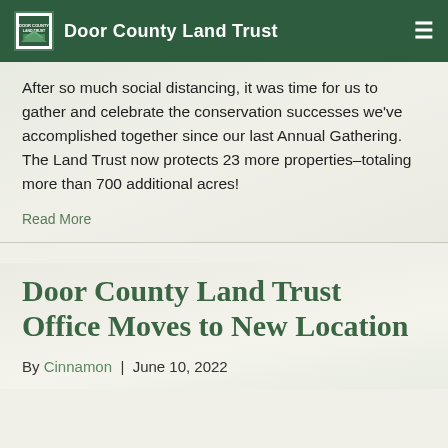Door County Land Trust
After so much social distancing, it was time for us to gather and celebrate the conservation successes we've accomplished together since our last Annual Gathering. The Land Trust now protects 23 more properties–totaling more than 700 additional acres!
Read More
Door County Land Trust Office Moves to New Location
By Cinnamon | June 10, 2022